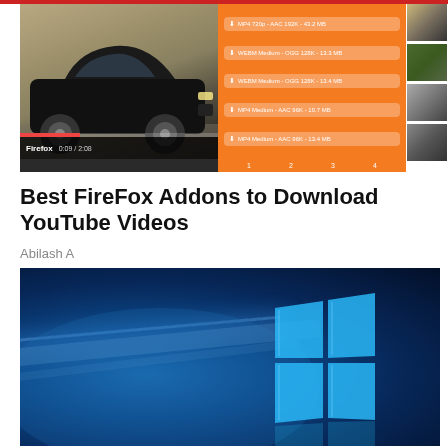[Figure (screenshot): Firefox browser screenshot showing a car video with an orange download panel listing MP4 and WEBM format options, side video thumbnails, and pagination controls]
Best FireFox Addons to Download YouTube Videos
Abilash A
[Figure (screenshot): Windows 10 desktop wallpaper showing the Windows logo in blue tones with a radiant light effect]